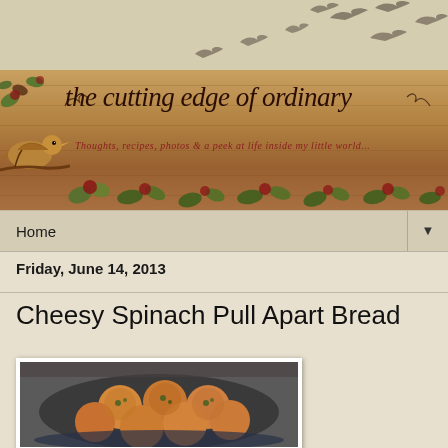[Figure (illustration): Blog header banner for 'the cutting edge of ordinary' — a rustic wooden textured background with a yellow bird, floral and ivy decorations in deep red and green, with bird silhouettes flying in a beige/tan sky above. Blog title in decorative script and subtitle in red italic text.]
Home ▼
Friday, June 14, 2013
Cheesy Spinach Pull Apart Bread
[Figure (photo): Photo of round pull-apart bread rolls with spinach filling, baked in a dark round pan, golden brown on top.]